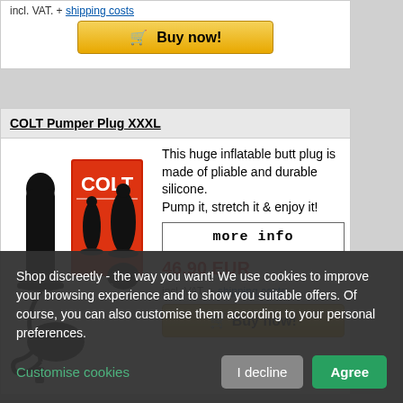[Figure (photo): Buy now button with shopping cart icon on a yellow/gold gradient background for a previous product listing]
incl. VAT. + shipping costs
COLT Pumper Plug XXXL
[Figure (photo): Product photo of COLT Pumper Plug XXXL inflatable butt plug in black silicone with pump attachment and retail box]
This huge inflatable butt plug is made of pliable and durable silicone. Pump it, stretch it & enjoy it!
more info
46.90 EUR
incl. VAT. + shipping costs
Buy now!
Shop discreetly - the way you want! We use cookies to improve your browsing experience and to show you suitable offers. Of course, you can also customise them according to your personal preferences.
Customise cookies
I decline
Agree